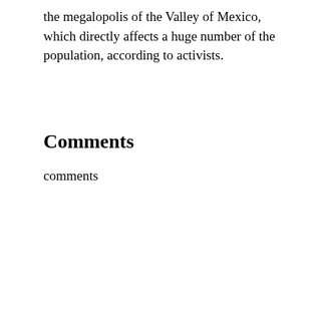the megalopolis of the Valley of Mexico, which directly affects a huge number of the population, according to activists.
Comments
comments